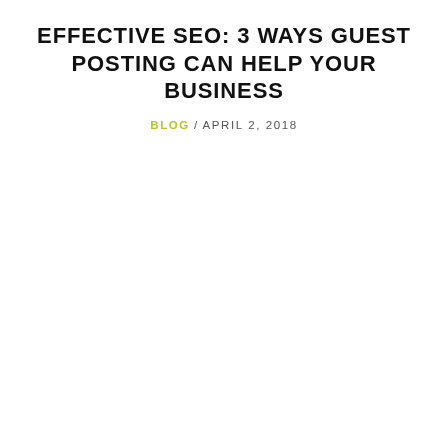EFFECTIVE SEO: 3 WAYS GUEST POSTING CAN HELP YOUR BUSINESS
BLOG / APRIL 2, 2018